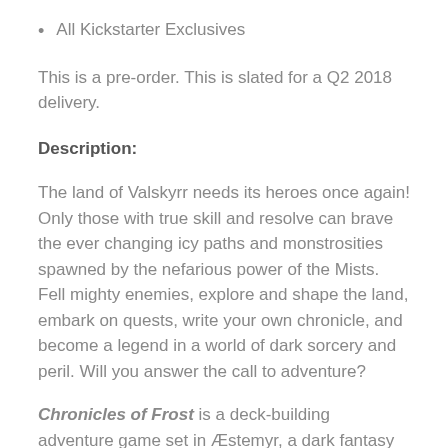All Kickstarter Exclusives
This is a pre-order. This is slated for a Q2 2018 delivery.
Description:
The land of Valskyrr needs its heroes once again! Only those with true skill and resolve can brave the ever changing icy paths and monstrosities spawned by the nefarious power of the Mists. Fell mighty enemies, explore and shape the land, embark on quests, write your own chronicle, and become a legend in a world of dark sorcery and peril. Will you answer the call to adventure?
Chronicles of Frost is a deck-building adventure game set in Æstemyr, a dark fantasy universe rich in its own lore, shared by Mistfall, Heart of the